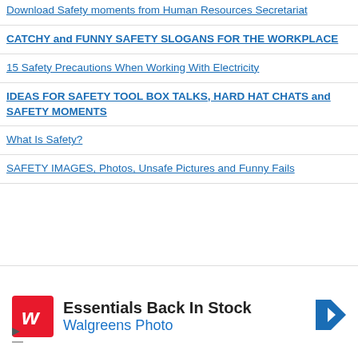Download Safety moments from Human Resources Secretariat
CATCHY and FUNNY SAFETY SLOGANS FOR THE WORKPLACE
15 Safety Precautions When Working With Electricity
IDEAS FOR SAFETY TOOL BOX TALKS, HARD HAT CHATS and SAFETY MOMENTS
What Is Safety?
SAFETY IMAGES, Photos, Unsafe Pictures and Funny Fails
[Figure (screenshot): Walgreens advertisement: Essentials Back In Stock, Walgreens Photo]